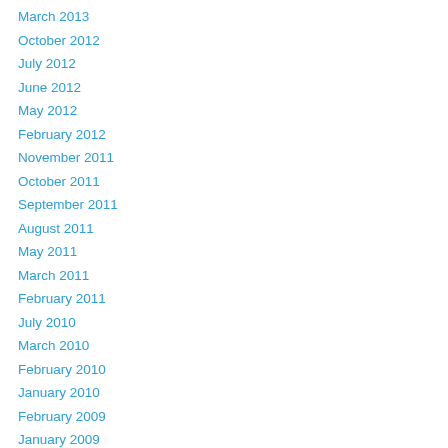March 2013
October 2012
July 2012
June 2012
May 2012
February 2012
November 2011
October 2011
September 2011
August 2011
May 2011
March 2011
February 2011
July 2010
March 2010
February 2010
January 2010
February 2009
January 2009
December 2008